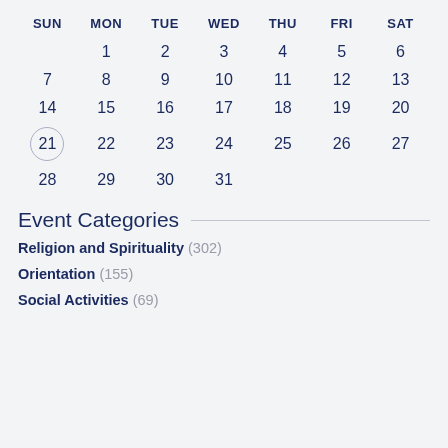| SUN | MON | TUE | WED | THU | FRI | SAT |
| --- | --- | --- | --- | --- | --- | --- |
|  | 1 | 2 | 3 | 4 | 5 | 6 |
| 7 | 8 | 9 | 10 | 11 | 12 | 13 |
| 14 | 15 | 16 | 17 | 18 | 19 | 20 |
| 21 | 22 | 23 | 24 | 25 | 26 | 27 |
| 28 | 29 | 30 | 31 |  |  |  |
Event Categories
Religion and Spirituality (302)
Orientation (155)
Social Activities (69)